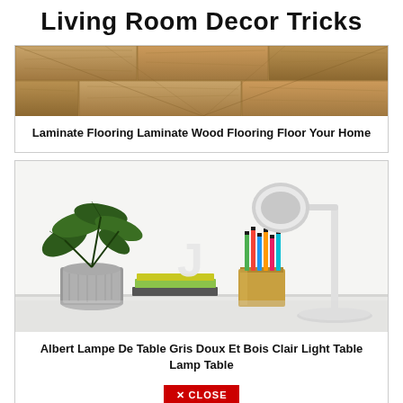Living Room Decor Tricks
[Figure (photo): Close-up photo of laminate wood flooring with warm brown tones and wood grain texture]
Laminate Flooring Laminate Wood Flooring Floor Your Home
[Figure (photo): White desk scene with a potted green plant, letter J decoration, colorful pencils in a gold cup, and a white desk lamp]
Albert Lampe De Table Gris Doux Et Bois Clair Light Table Lamp Table
✕ CLOSE